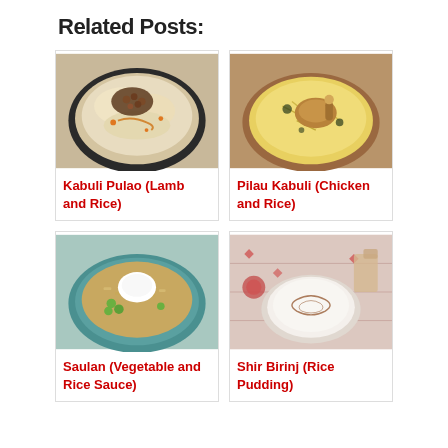Related Posts:
[Figure (photo): Bowl of Kabuli Pulao - lamb and rice dish with nuts on top]
Kabuli Pulao (Lamb and Rice)
[Figure (photo): Bowl of Pilau Kabuli - chicken and yellow rice dish]
Pilau Kabuli (Chicken and Rice)
[Figure (photo): Bowl of Saulan - vegetable and rice sauce with sour cream topping]
Saulan (Vegetable and Rice Sauce)
[Figure (photo): Bowl of Shir Birinj - rice pudding dessert on a table]
Shir Birinj (Rice Pudding)